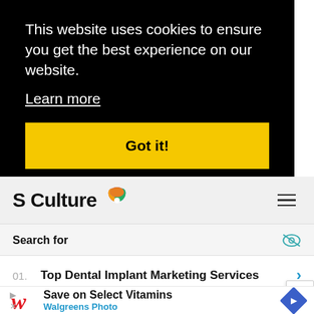This website uses cookies to ensure you get the best experience on our website.
Learn more
Got it!
[Figure (logo): S Culture logo with colorful pinwheel flower icon]
Search for
01. Top Dental Implant Marketing Services
[Figure (infographic): Walgreens ad: Save on Select Vitamins - Walgreens Photo with navigation arrow icon]